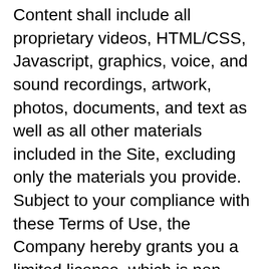Content shall include all proprietary videos, HTML/CSS, Javascript, graphics, voice, and sound recordings, artwork, photos, documents, and text as well as all other materials included in the Site, excluding only the materials you provide. Subject to your compliance with these Terms of Use, the Company hereby grants you a limited license, which is non-exclusive, non-transferable, and non-sublicensable, to access, view, and use the Site solely for your personal purposes. No Company Content may be copied, reproduced, republished, uploaded, posted, transmitted, distributed, used for public or commercial purposes, or downloaded in any way unless written permission is expressly granted by the Company. Modification of the Content or use of the Content for any other purpose is a violation of the copyright and other proprietary rights of the Company, as well as other content creators and the